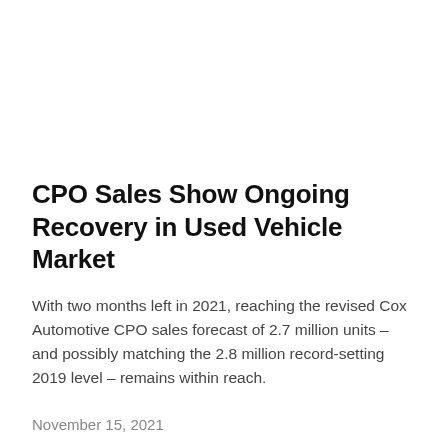CPO Sales Show Ongoing Recovery in Used Vehicle Market
With two months left in 2021, reaching the revised Cox Automotive CPO sales forecast of 2.7 million units – and possibly matching the 2.8 million record-setting 2019 level – remains within reach.
November 15, 2021